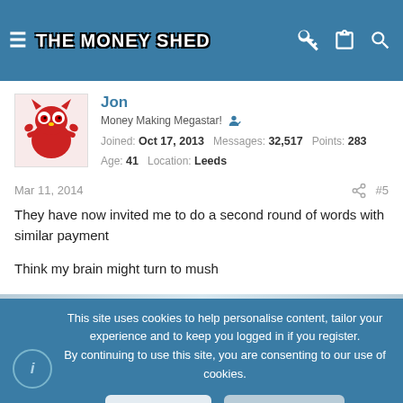THE MONEY SHED
[Figure (illustration): Red cartoon owl-like character avatar for user Jon]
Jon
Money Making Megastar!
Joined: Oct 17, 2013   Messages: 32,517   Points: 283
Age: 41   Location: Leeds
Mar 11, 2014   #5
They have now invited me to do a second round of words with similar payment

Think my brain might turn to mush
This site uses cookies to help personalise content, tailor your experience and to keep you logged in if you register.
By continuing to use this site, you are consenting to our use of cookies.
✓ Accept   Learn more…